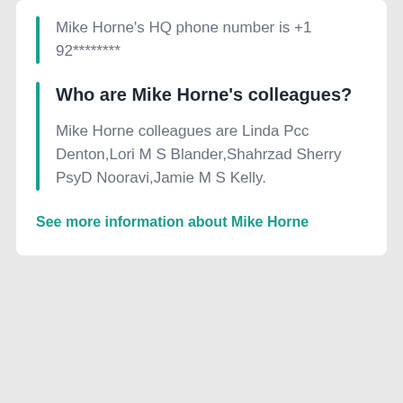Mike Horne's HQ phone number is +1 92********
Who are Mike Horne's colleagues?
Mike Horne colleagues are Linda Pcc Denton,Lori M S Blander,Shahrzad Sherry PsyD Nooravi,Jamie M S Kelly.
See more information about Mike Horne